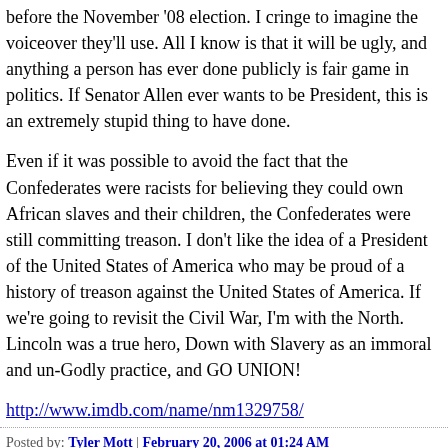before the November '08 election. I cringe to imagine the voiceover they'll use. All I know is that it will be ugly, and anything a person has ever done publicly is fair game in politics. If Senator Allen ever wants to be President, this is an extremely stupid thing to have done.
Even if it was possible to avoid the fact that the Confederates were racists for believing they could own African slaves and their children, the Confederates were still committing treason. I don't like the idea of a President of the United States of America who may be proud of a history of treason against the United States of America. If we're going to revisit the Civil War, I'm with the North. Lincoln was a true hero, Down with Slavery as an immoral and un-Godly practice, and GO UNION!
http://www.imdb.com/name/nm1329758/
Posted by: Tyler Mott | February 20, 2006 at 01:24 AM
I AM TOTALLY AGAINST THIS MAN FOR HIS SPEECH HE GA. ON COAL MINERS WITH A SMILE ON HIS FACE. HE STATED